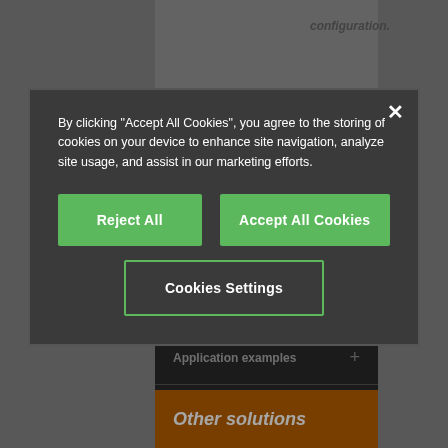[Figure (screenshot): Background website page showing partial content with dark accordion sections for 'Application examples' and 'Downloads', and an orange 'Other solutions' section at bottom]
By clicking "Accept All Cookies", you agree to the storing of cookies on your device to enhance site navigation, analyze site usage, and assist in our marketing efforts.
Reject All
Accept All Cookies
Cookies Settings
Application examples
Downloads
Other solutions